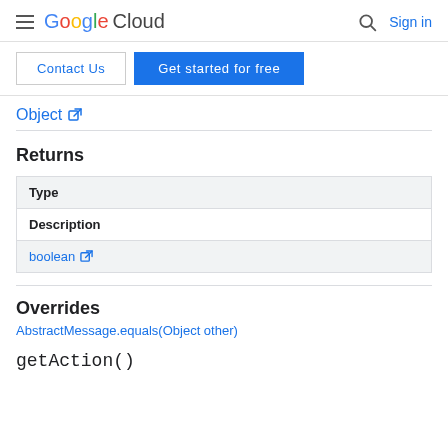Google Cloud  Sign in
Contact Us  Get started for free
Object
Returns
| Type |
| --- |
| Description |
| boolean |
Overrides
AbstractMessage.equals(Object other)
getAction()